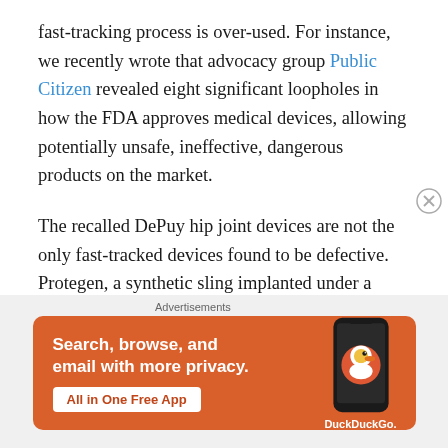fast-tracking process is over-used. For instance, we recently wrote that advocacy group Public Citizen revealed eight significant loopholes in how the FDA approves medical devices, allowing potentially unsafe, ineffective, dangerous products on the market.
The recalled DePuy hip joint devices are not the only fast-tracked devices found to be defective. Protegen, a synthetic sling implanted under a woman's bladder to prevent stress incontinence was granted 510(k) approval in 1996, but was recalled three years later due to a high rate of complications. Medtronic Inc. recalled its Sprint
Advertisements
[Figure (infographic): DuckDuckGo advertisement banner: orange background with white text 'Search, browse, and email with more privacy. All in One Free App' and a phone image with DuckDuckGo logo and branding.]